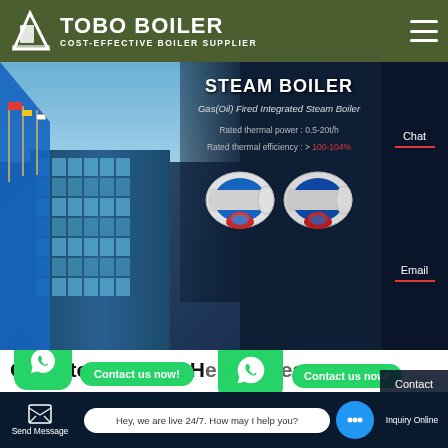TOBO BOILER — COST-EFFECTIVE BOILER SUPPLIER
[Figure (screenshot): Hero banner showing Steam Boiler product page with gas/oil fired integrated steam boiler imagery, building exterior with flags, boiler units, specifications panel, Chat/Email side buttons]
STEAM BOILER
Gas(Oil) Fired Integrated Steam Boiler
Rated thermal power : 0.5-20t/h
Rated thermal efficiency : > 100-104%
Gas Steam Boiler Hotelling Bela...
Contact us now!
Send Message | Hey, we are live 24/7. How may I help you? | Inquiry Online